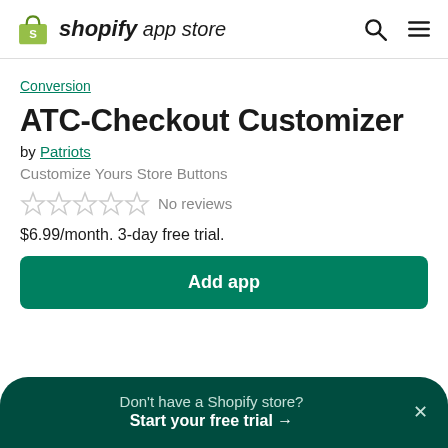shopify app store
Conversion
ATC-Checkout Customizer
by Patriots
Customize Yours Store Buttons
No reviews
$6.99/month. 3-day free trial.
Add app
Don't have a Shopify store? Start your free trial →